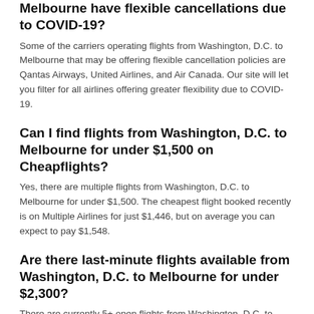Melbourne have flexible cancellations due to COVID-19?
Some of the carriers operating flights from Washington, D.C. to Melbourne that may be offering flexible cancellation policies are Qantas Airways, United Airlines, and Air Canada. Our site will let you filter for all airlines offering greater flexibility due to COVID-19.
Can I find flights from Washington, D.C. to Melbourne for under $1,500 on Cheapflights?
Yes, there are multiple flights from Washington, D.C. to Melbourne for under $1,500. The cheapest flight booked recently is on Multiple Airlines for just $1,446, but on average you can expect to pay $1,548.
Are there last-minute flights available from Washington, D.C. to Melbourne for under $2,300?
There are currently 5+ open flights from Washington, D.C. to Melbourne within the next 7 days for less than $2,300.